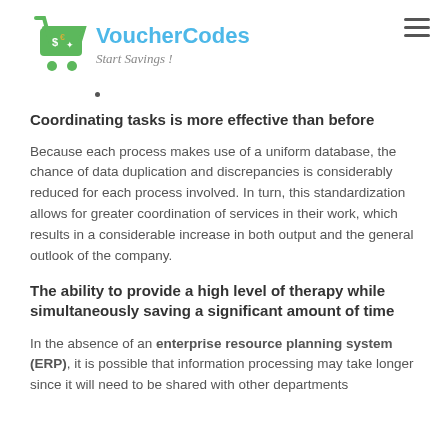[Figure (logo): VoucherCodes logo with shopping cart icon, brand name in blue, and 'Start Savings!' tagline in gray cursive]
Coordinating tasks is more effective than before
Because each process makes use of a uniform database, the chance of data duplication and discrepancies is considerably reduced for each process involved. In turn, this standardization allows for greater coordination of services in their work, which results in a considerable increase in both output and the general outlook of the company.
The ability to provide a high level of therapy while simultaneously saving a significant amount of time
In the absence of an enterprise resource planning system (ERP), it is possible that information processing may take longer since it will need to be shared with other departments